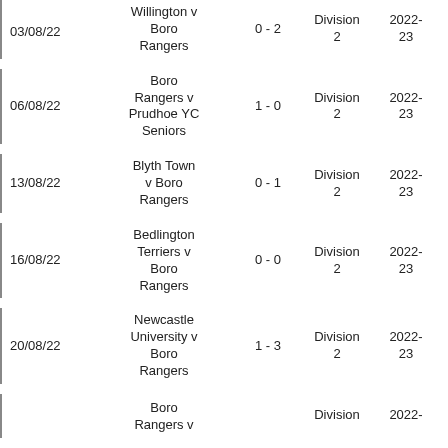| Date | Match | Score | Division | Year | Flag |
| --- | --- | --- | --- | --- | --- |
| 03/08/22 | Willington v Boro Rangers | 0 - 2 | Division 2 | 2022-23 |  |
| 06/08/22 | Boro Rangers v Prudhoe YC Seniors | 1 - 0 | Division 2 | 2022-23 | N |
| 13/08/22 | Blyth Town v Boro Rangers | 0 - 1 | Division 2 | 2022-23 |  |
| 16/08/22 | Bedlington Terriers v Boro Rangers | 0 - 0 | Division 2 | 2022-23 |  |
| 20/08/22 | Newcastle University v Boro Rangers | 1 - 3 | Division 2 | 2022-23 |  |
|  | Boro Rangers v |  | Division | 2022- |  |